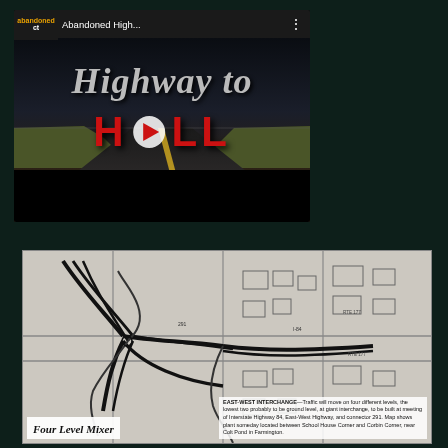[Figure (screenshot): YouTube video thumbnail showing 'Highway to Hell' title with dark stormy sky and road perspective. Channel: abandoned ct. Video title: Abandoned High...]
[Figure (photo): Black and white newspaper map/diagram labeled 'Four Level Mixer' showing an EAST-WEST INTERCHANGE traffic plan with roads at four different levels, a grade interchange, connecting Interstate Highway 84, East-West Highway, and connector 291, near Colt Pond in Farmington. Caption text describes the interchange details between School House Corner and Corbin Corner.]